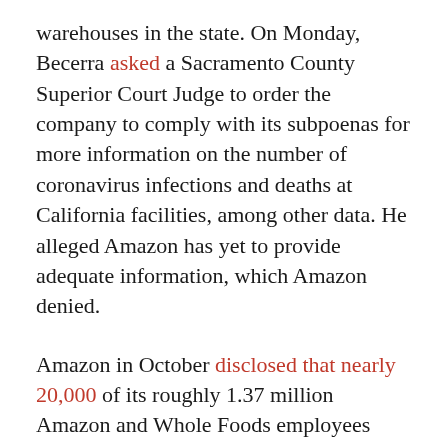warehouses in the state. On Monday, Becerra asked a Sacramento County Superior Court Judge to order the company to comply with its subpoenas for more information on the number of coronavirus infections and deaths at California facilities, among other data. He alleged Amazon has yet to provide adequate information, which Amazon denied.
Amazon in October disclosed that nearly 20,000 of its roughly 1.37 million Amazon and Whole Foods employees contracted Covid-19 between March 1 and Sept. 19. The company said the rate of infection among employees was 42% lower than expected, compared with the general population rate in the U.S.
A spokesperson for Amazon did not immediately provide comment. Whole Foods did not respond to requests for comment.